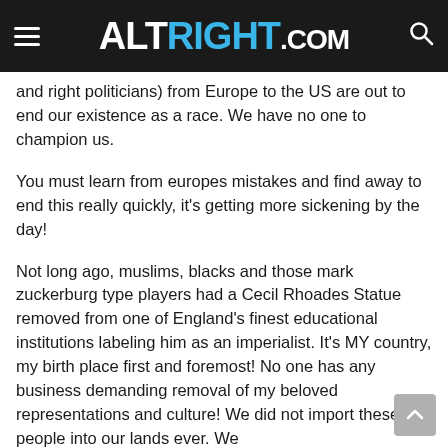ALTRIGHT.COM
and right politicians) from Europe to the US are out to end our existence as a race. We have no one to champion us.
You must learn from europes mistakes and find away to end this really quickly, it's getting more sickening by the day!
Not long ago, muslims, blacks and those mark zuckerburg type players had a Cecil Rhoades Statue removed from one of England's finest educational institutions labeling him as an imperialist. It's MY country, my birth place first and foremost! No one has any business demanding removal of my beloved representations and culture! We did not import these people into our lands ever. We